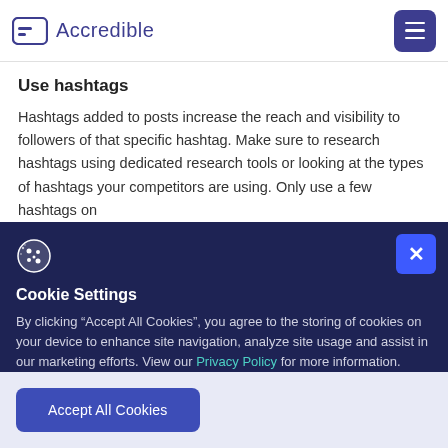Accredible
Use hashtags
Hashtags added to posts increase the reach and visibility to followers of that specific hashtag. Make sure to research hashtags using dedicated research tools or looking at the types of hashtags your competitors are using. Only use a few hashtags on
Cookie Settings
By clicking “Accept All Cookies”, you agree to the storing of cookies on your device to enhance site navigation, analyze site usage and assist in our marketing efforts. View our Privacy Policy for more information.
Accept All Cookies